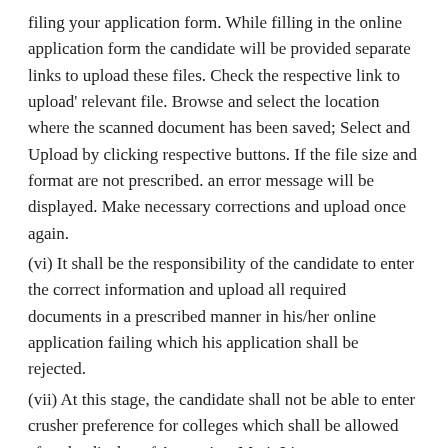filing your application form. While filling in the online application form the candidate will be provided separate links to upload these files. Check the respective link to upload' relevant file. Browse and select the location where the scanned document has been saved; Select and Upload by clicking respective buttons. If the file size and format are not prescribed. an error message will be displayed. Make necessary corrections and upload once again.
(vi) It shall be the responsibility of the candidate to enter the correct information and upload all required documents in a prescribed manner in his/her online application failing which his application shall be rejected.
(vii) At this stage, the candidate shall not be able to enter crusher preference for colleges which shall be allowed after the display of Aggreçjate Merit List.
(viii) Please. don't submit your application hastily. After